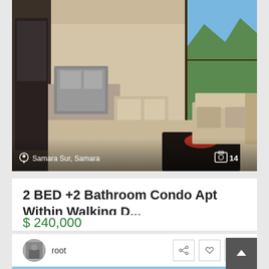[Figure (photo): Interior photo of a modern condo apartment showing kitchen with stainless steel appliances, open living area with large floor tiles, dark coffee table, beige sofa, and floor-to-ceiling windows with mountain and green landscape view. Location overlay: Samara Sur, Samara. Photo count: 14.]
2 BED +2 Bathroom Condo Apt Within Walking D...
$ 240,000
Beautiful condo within walking distance (5 minutes by bike) to Playa Samara and Playa Carrillo. This unit has 2bedr [more]
full info
root
[Figure (photo): Partial view of a second listing photo showing blue sky, partially visible SOLD badge in the bottom-right corner.]